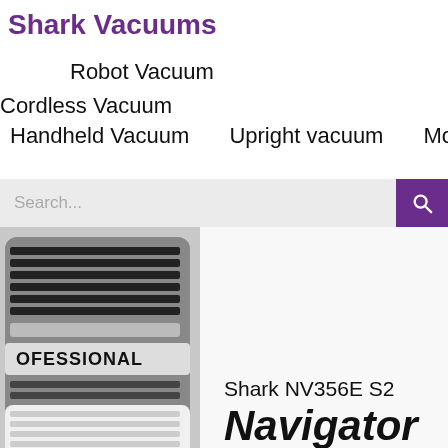Shark Vacuums
Robot Vacuum
Cordless Vacuum
Handheld Vacuum
Upright vacuum
More
[Figure (photo): Close-up photograph of a Shark professional vacuum cleaner showing vents and the word PROFESSIONAL on the body]
Shark NV356E S2
Navigator